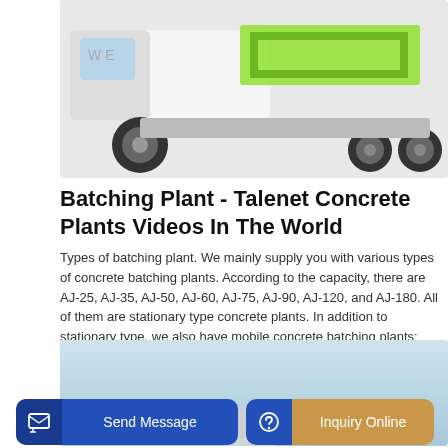[Figure (photo): Partial view of a concrete mixer truck on a white/light grey background, showing wheels, cab side, and green-painted frame/chassis.]
Batching Plant - Talenet Concrete Plants Videos In The World
Types of batching plant. We mainly supply you with various types of concrete batching plants. According to the capacity, there are AJ-25, AJ-35, AJ-50, AJ-60, AJ-75, AJ-90, AJ-120, and AJ-180. All of them are stationary type concrete plants. In addition to stationary type, we also have mobile concrete batching plants: AJY-25, AJY-35, and AJY-50.
[Figure (photo): Partial view of a concrete mixing truck or batching plant equipment against a light blue sky background.]
GET A QUOTE
Send Message
Inquiry Online